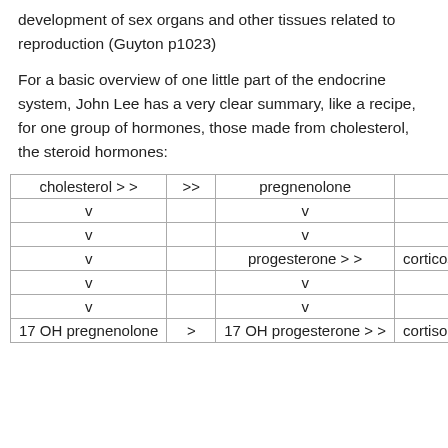development of sex organs and other tissues related to reproduction (Guyton p1023)
For a basic overview of one little part of the endocrine system, John Lee has a very clear summary, like a recipe, for one group of hormones, those made from cholesterol, the steroid hormones:
|  |  |  |  |
| --- | --- | --- | --- |
| cholesterol > > | >> | pregnenolone |  |
| v |  | v |  |
| v |  | v |  |
| v |  | progesterone > > | corticoster… |
| v |  | v |  |
| v |  | v |  |
| 17 OH pregnenolone | > | 17 OH progesterone > > | cortisol |